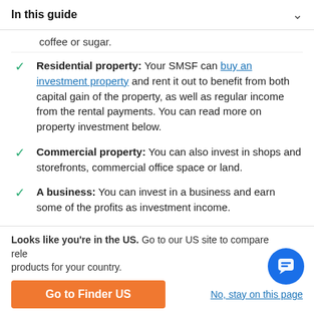In this guide
coffee or sugar.
Residential property: Your SMSF can buy an investment property and rent it out to benefit from both capital gain of the property, as well as regular income from the rental payments. You can read more on property investment below.
Commercial property: You can also invest in shops and storefronts, commercial office space or land.
A business: You can invest in a business and earn some of the profits as investment income.
Derivatives. If you have trading experience, you can invest with high-risk derivative products like CFDs or
Looks like you're in the US. Go to our US site to compare relevant products for your country.
Go to Finder US
No, stay on this page